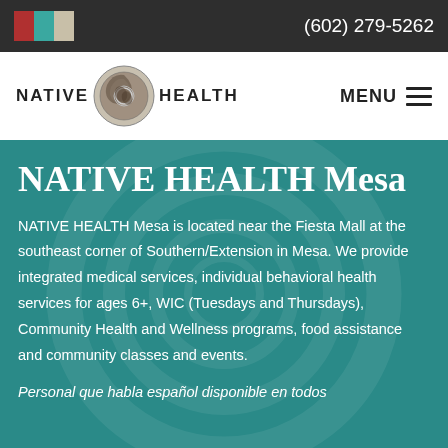(602) 279-5262
[Figure (logo): NATIVE HEALTH logo with circular emblem between the words NATIVE and HEALTH]
NATIVE HEALTH Mesa
NATIVE HEALTH Mesa is located near the Fiesta Mall at the southeast corner of Southern/Extension in Mesa. We provide integrated medical services, individual behavioral health services for ages 6+, WIC (Tuesdays and Thursdays), Community Health and Wellness programs, food assistance and community classes and events.
Personal que habla español disponible en todos